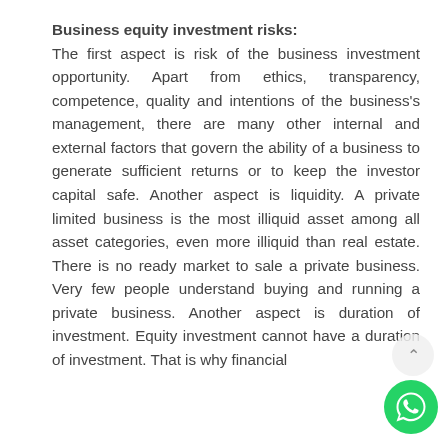Business equity investment risks:
The first aspect is risk of the business investment opportunity. Apart from ethics, transparency, competence, quality and intentions of the business's management, there are many other internal and external factors that govern the ability of a business to generate sufficient returns or to keep the investor capital safe. Another aspect is liquidity. A private limited business is the most illiquid asset among all asset categories, even more illiquid than real estate. There is no ready market to sale a private business. Very few people understand buying and running a private business. Another aspect is duration of investment. Equity investment cannot have a duration of investment. That is why financial